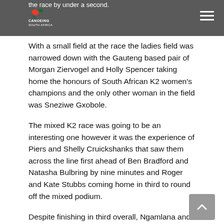the race by under a second.
[Figure (logo): Canoeing South Africa logo — bird/canoeist icon with text CANOEING SOUTH AFRICA]
With a small field at the race the ladies field was narrowed down with the Gauteng based pair of Morgan Ziervogel and Holly Spencer taking home the honours of South African K2 women's champions and the only other woman in the field was Sneziwe Gxobole.
The mixed K2 race was going to be an interesting one however it was the experience of Piers and Shelly Cruickshanks that saw them across the line first ahead of Ben Bradford and Natasha Bulbring by nine minutes and Roger and Kate Stubbs coming home in third to round off the mixed podium.
Despite finishing in third overall, Ngamlana and Tyiki were the fastest Under 23 boat over the two days handing them the age group title with David Rodrigues and Nicholas Weeks finishing second and Colin